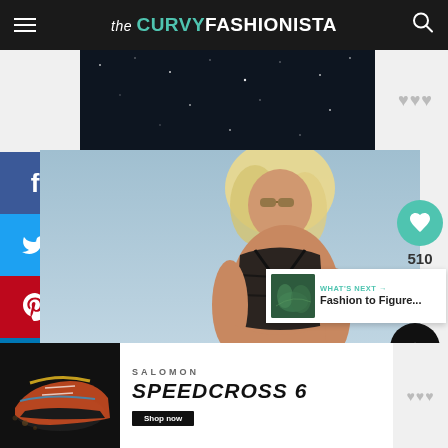the CURVY FASHIONISTA
[Figure (photo): Dark navy advertisement banner with star/night sky texture]
[Figure (photo): Full-body photo of plus-size blonde woman wearing black strappy lingerie/swimsuit set with thigh straps, standing against a light blue sky background]
510
WHAT'S NEXT → Fashion to Figure...
[Figure (photo): Salomon Speedcross 6 advertisement with trail running shoe product image, dark background with colorful shoe, and SPEEDCROSS 6 text]